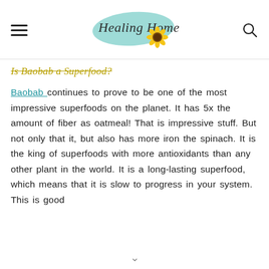Healing Home
Is Baobab a Superfood?
Baobab continues to prove to be one of the most impressive superfoods on the planet. It has 5x the amount of fiber as oatmeal! That is impressive stuff. But not only that it, but also has more iron the spinach. It is the king of superfoods with more antioxidants than any other plant in the world. It is a long-lasting superfood, which means that it is slow to progress in your system. This is good